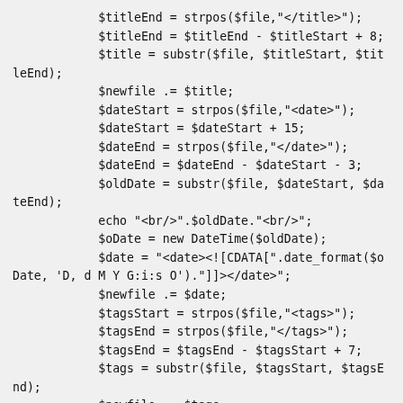$titleEnd = strpos($file,"</title>");
            $titleEnd = $titleEnd - $titleStart + 8;
            $title = substr($file, $titleStart, $titleEnd);
            $newfile .= $title;
            $dateStart = strpos($file,"<date>");
            $dateStart = $dateStart + 15;
            $dateEnd = strpos($file,"</date>");
            $dateEnd = $dateEnd - $dateStart - 3;
            $oldDate = substr($file, $dateStart, $dateEnd);
            echo "<br/>".$oldDate."<br/>";
            $oDate = new DateTime($oldDate);
            $date = "<date><![CDATA[".date_format($oDate, 'D, d M Y G:i:s O')."]]]></date>";
            $newfile .= $date;
            $tagsStart = strpos($file,"<tags>");
            $tagsEnd = strpos($file,"</tags>");
            $tagsEnd = $tagsEnd - $tagsStart + 7;
            $tags = substr($file, $tagsStart, $tagsEnd);
            $newfile .= $tags;
            $privateStart = strpos($file,"<private");
            $privateEnd = strpos($file,"</privat...